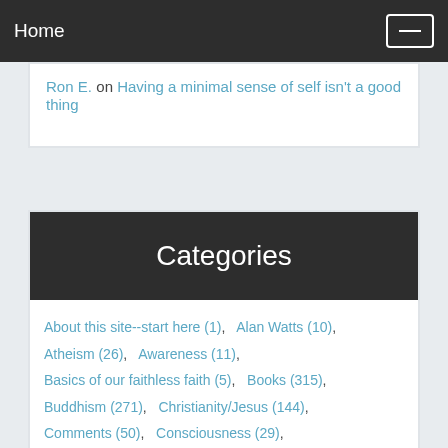Home
Ron E. on Having a minimal sense of self isn't a good thing
Categories
About this site--start here (1),   Alan Watts (10),
Atheism (26),   Awareness (11),
Basics of our faithless faith (5),   Books (315),
Buddhism (271),   Christianity/Jesus (144),
Comments (50),   Consciousness (29),
Coronavirus (20),   Death/Rebirth (107),
Delusion (11),   Discernment (3),   Free will (27),